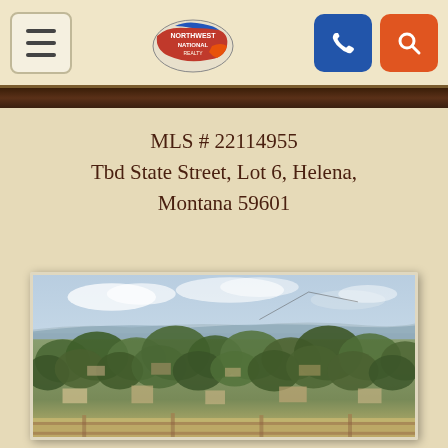Northwest National Realty — navigation bar with menu, logo, phone, and search buttons
MLS # 22114955
Tbd State Street, Lot 6, Helena, Montana 59601
[Figure (photo): Aerial or elevated landscape photograph showing a residential area with trees, rooftops, and an open sky with clouds, appearing to be Helena, Montana viewed from a hilltop.]